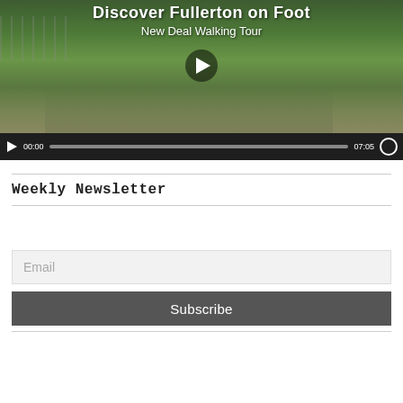[Figure (screenshot): Video player showing 'Discover Fullerton on Foot - New Deal Walking Tour' with a group of people walking, play button overlay, and video controls showing 00:00 / 07:05]
Weekly Newsletter
[Figure (screenshot): Email subscription form with an Email input field and a Subscribe button]